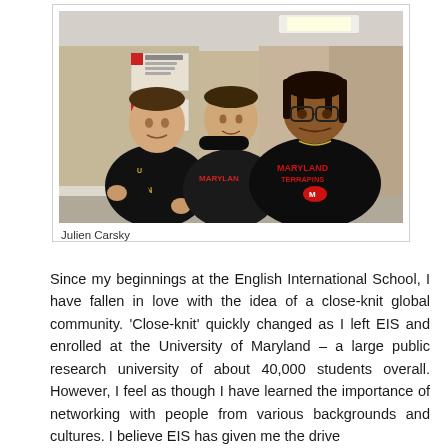[Figure (photo): Three young men in University of Maryland hoodies posing together indoors, smiling at the camera. A poster or sign is visible on the wall behind them.]
Julien Carsky
Since my beginnings at the English International School, I have fallen in love with the idea of a close-knit global community. 'Close-knit' quickly changed as I left EIS and enrolled at the University of Maryland – a large public research university of about 40,000 students overall. However, I feel as though I have learned the importance of networking with people from various backgrounds and cultures. I believe EIS has given me the drive